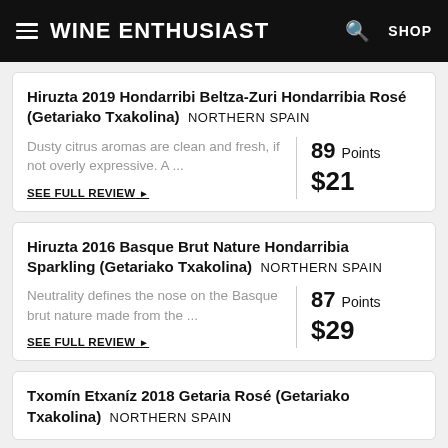Wine Enthusiast  SHOP
Hiruzta 2019 Hondarribi Beltza-Zuri Hondarribia Rosé (Getariako Txakolina)  NORTHERN SPAIN
Dusty citrus aromas are clean and fresh, if not overly expressive. A ...
SEE FULL REVIEW ▶
89 Points
$21
Hiruzta 2016 Basque Brut Nature Hondarribia Sparkling (Getariako Txakolina)  NORTHERN SPAIN
Neutrality defines the nose on the Basque brut nature made from the ...
SEE FULL REVIEW ▶
87 Points
$29
Txomín Etxaníz 2018 Getaria Rosé (Getariako Txakolina)  NORTHERN SPAIN